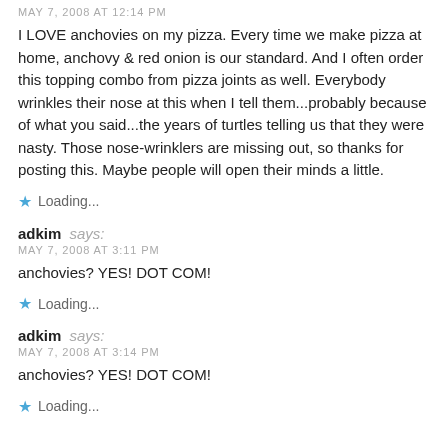MAY 7, 2008 AT 12:14 PM
I LOVE anchovies on my pizza. Every time we make pizza at home, anchovy & red onion is our standard. And I often order this topping combo from pizza joints as well. Everybody wrinkles their nose at this when I tell them...probably because of what you said...the years of turtles telling us that they were nasty. Those nose-wrinklers are missing out, so thanks for posting this. Maybe people will open their minds a little.
Loading...
adkim says:
MAY 7, 2008 AT 3:11 PM
anchovies? YES! DOT COM!
Loading...
adkim says:
MAY 7, 2008 AT 3:14 PM
anchovies? YES! DOT COM!
Loading...